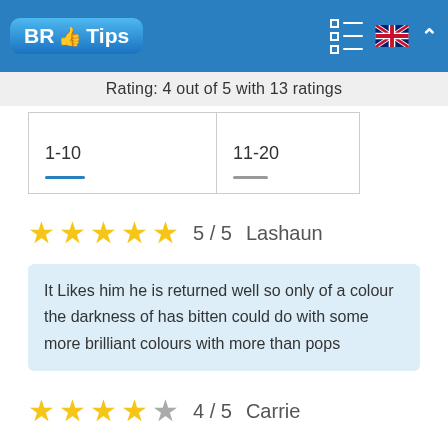BR Tips
Rating: 4 out of 5 with 13 ratings
| 1-10 | 11-20 |
| --- | --- |
★★★★★ 5 / 5  Lashaun
It Likes him he is returned well so only of a colour the darkness of has bitten could do with some more brilliant colours with more than pops
★★★★☆ 4 / 5  Carrie